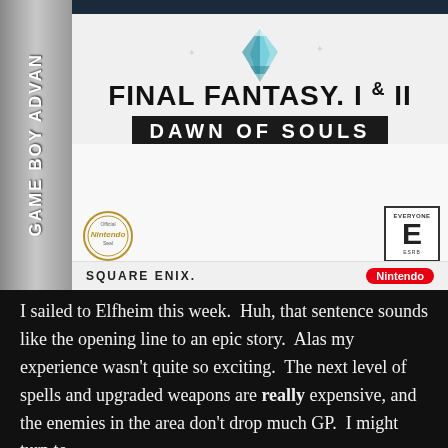[Figure (photo): Game Boy Advance cartridge box art for Final Fantasy I & II: Dawn of Souls by Square Enix. Shows the GBA spine label on the left, crystal/character artwork at the top, the title 'FINAL FANTASY I & II' in bold black letters, a dark banner reading 'DAWN OF SOULS', Nintendo Official Seal, ESRB E for Everyone rating, Square Enix publisher name, and Nintendo logo at the bottom.]
I sailed to Elfheim this week.  Huh, that sentence sounds like the opening line to an epic story.  Alas my experience wasn't quite so exciting.  The next level of spells and upgraded weapons are really expensive, and the enemies in the area don't drop much GP.  I might turn to